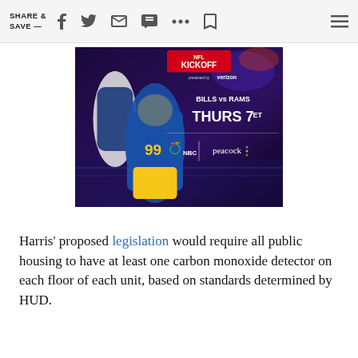SHARE & SAVE —
[Figure (photo): NFL Kickoff advertisement showing Bills vs Rams, Thurs 7ET on NBC/Peacock, presented by Verizon. Features LA Rams player #99 in blue and gold uniform.]
Harris' proposed legislation would require all public housing to have at least one carbon monoxide detector on each floor of each unit, based on standards determined by HUD.